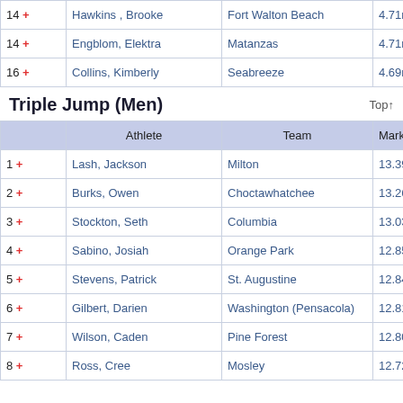|  | Athlete | Team | Mark |
| --- | --- | --- | --- |
| 14 + | Hawkins, Brooke | Fort Walton Beach | 4.71m |
| 14 + | Engblom, Elektra | Matanzas | 4.71m |
| 16 + | Collins, Kimberly | Seabreeze | 4.69m |
Triple Jump (Men)
|  | Athlete | Team | Mark |
| --- | --- | --- | --- |
| 1 + | Lash, Jackson | Milton | 13.39m |
| 2 + | Burks, Owen | Choctawhatchee | 13.26m |
| 3 + | Stockton, Seth | Columbia | 13.03m |
| 4 + | Sabino, Josiah | Orange Park | 12.85m |
| 5 + | Stevens, Patrick | St. Augustine | 12.84m |
| 6 + | Gilbert, Darien | Washington (Pensacola) | 12.81m |
| 7 + | Wilson, Caden | Pine Forest | 12.80m |
| 8 + | Ross, Cree | Mosley | 12.72m |